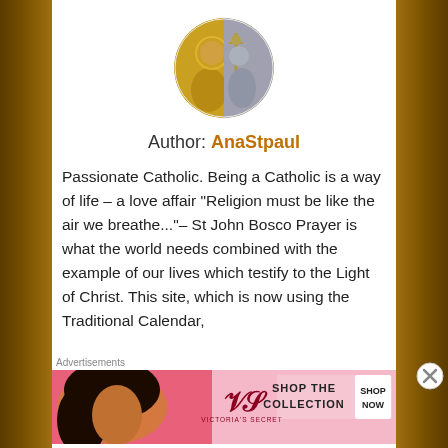[Figure (photo): Circular avatar image showing a golden and grey tone religious figure (saint with papal staff), used as author profile picture]
Author: AnaStpaul
Passionate Catholic. Being a Catholic is a way of life – a love affair "Religion must be like the air we breathe..."– St John Bosco Prayer is what the world needs combined with the example of our lives which testify to the Light of Christ. This site, which is now using the Traditional Calendar,
Advertisements
[Figure (screenshot): Victoria's Secret advertisement banner showing a woman with curly hair on pink background, with text SHOP THE COLLECTION and SHOP NOW button]